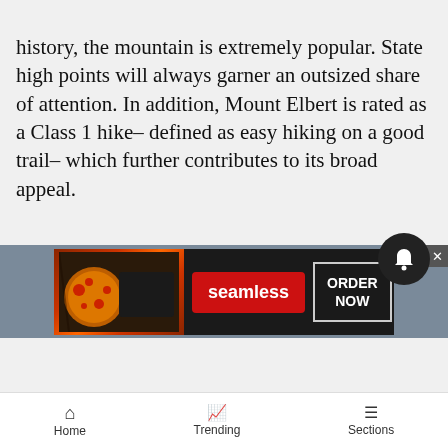history, the mountain is extremely popular. State high points will always garner an outsized share of attention. In addition, Mount Elbert is rated as a Class 1 hike– defined as easy hiking on a good trail– which further contributes to its broad appeal.
[Figure (screenshot): Seamless advertisement banner showing pizza image, Seamless red logo button, and ORDER NOW button with white border on dark background]
Home   Trending   Sections